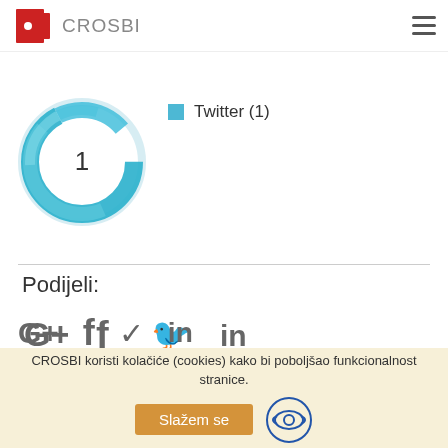CROSBI
[Figure (donut-chart): Altmetric donut chart showing score of 1, with Twitter (1) annotation]
Twitter (1)
Podijeli:
[Figure (infographic): Social share icons: Google+, Facebook, Twitter, LinkedIn]
CROSBI koristi kolačiće (cookies) kako bi poboljšao funkcionalnost stranice.
Slažem se